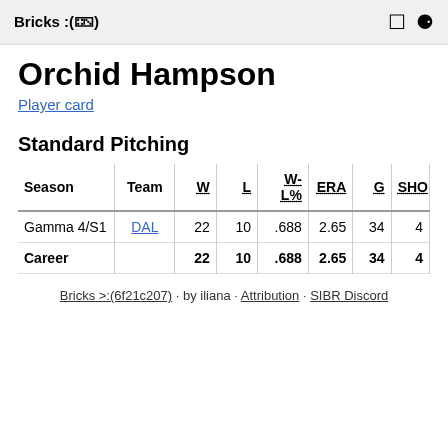Bricks :(🀱)
Orchid Hampson
Player card
Standard Pitching
| Season | Team | W | L | W-L% | ERA | G | SHO |
| --- | --- | --- | --- | --- | --- | --- | --- |
| Gamma 4/S1 | DAL | 22 | 10 | .688 | 2.65 | 34 | 4 |
| Career |  | 22 | 10 | .688 | 2.65 | 34 | 4 |
Bricks >:(6f21c207) · by iliana · Attribution · SIBR Discord